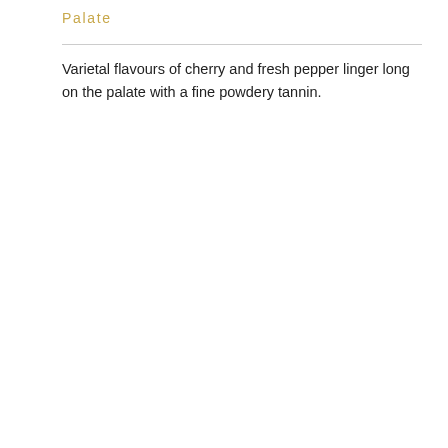Palate
Varietal flavours of cherry and fresh pepper linger long on the palate with a fine powdery tannin.